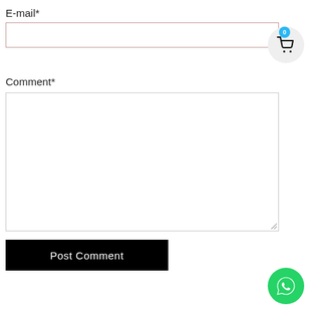E-mail*
[Figure (screenshot): Email input field with a pink/red border, empty text input area]
[Figure (infographic): Shopping cart icon button with blue badge showing 0, on a light gray circular background]
Comment*
[Figure (screenshot): Large comment textarea, empty, with a resize handle in the bottom-right corner]
Post Comment
[Figure (infographic): WhatsApp floating action button - green circle with white WhatsApp logo]